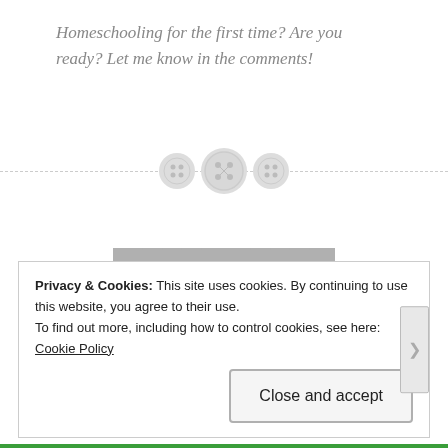Homeschooling for the first time? Are you ready? Let me know in the comments!
[Figure (illustration): Decorative divider with three button/sewing motif circles on a dashed horizontal line]
OLDER POSTS
Privacy & Cookies: This site uses cookies. By continuing to use this website, you agree to their use.
To find out more, including how to control cookies, see here: Cookie Policy
Close and accept